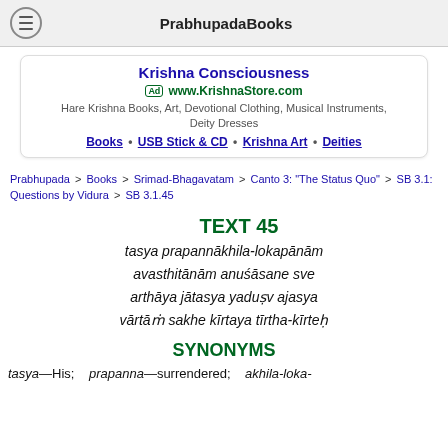PrabhupadaBooks
[Figure (other): Advertisement box for KrishnaStore.com featuring Krishna Consciousness books, art, devotional clothing, musical instruments, deity dresses]
Prabhupada > Books > Srimad-Bhagavatam > Canto 3: "The Status Quo" > SB 3.1: Questions by Vidura > SB 3.1.45
TEXT 45
tasya prapannākhila-lokapānām avasthitānām anuśāsane sve arthāya jātasya yaduṣv ajasya vārtāṁ sakhe kīrtaya tīrtha-kīrteḥ
SYNONYMS
tasya—His; prapanna—surrendered; akhila-loka-